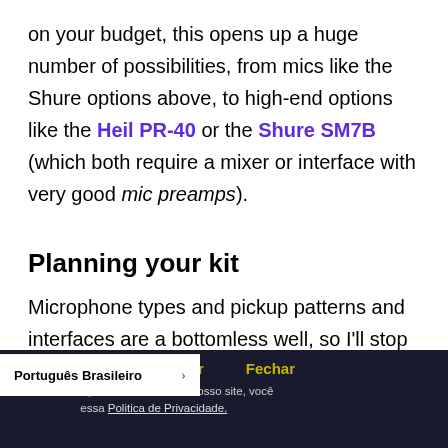on your budget, this opens up a huge number of possibilities, from mics like the Shure options above, to high-end options like the Heil PR-40 or the Shure SM7B (which both require a mixer or interface with very good mic preamps).
Planning your kit
Microphone types and pickup patterns and interfaces are a bottomless well, so I'll stop here. But fo...
Aceitar   Fechar
Usando o site, você concorda com nossa experiência. Ao visitar nosso site, você concorda com nossa Politica de Privacidade.